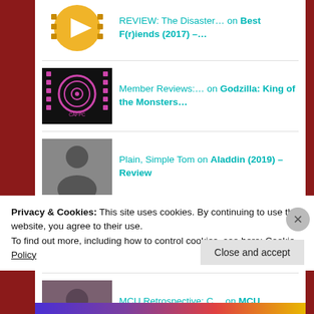REVIEW: The Disaster… on Best F(r)iends (2017) –…
Member Reviews:… on Godzilla: King of the Monsters…
Plain, Simple Tom on Aladdin (2019) – Review
Member Reviews:… on Aladdin (2019) – Review
MCU Retrospective: C… on MCU Retrospective: Avengers: A…
CATEGORIES
Privacy & Cookies: This site uses cookies. By continuing to use this website, you agree to their use.
To find out more, including how to control cookies, see here: Cookie Policy
Close and accept